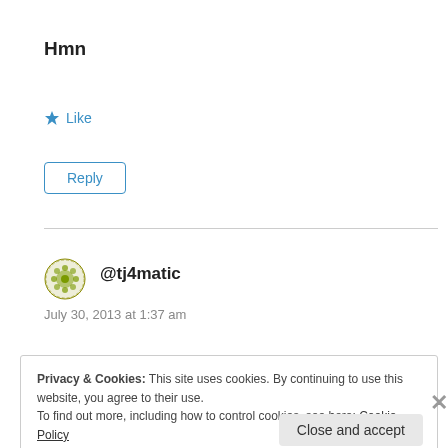Hmn
★ Like
Reply
@tj4matic
July 30, 2013 at 1:37 am
Privacy & Cookies: This site uses cookies. By continuing to use this website, you agree to their use.
To find out more, including how to control cookies, see here: Cookie Policy
Close and accept